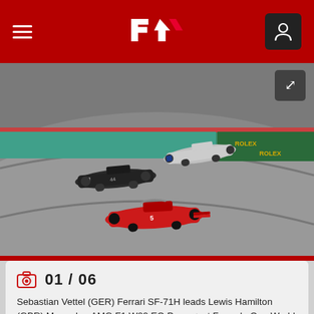F1 navigation bar with hamburger menu, F1 logo, and user icon
[Figure (photo): Formula 1 race photo showing Sebastian Vettel (GER) Ferrari SF-71H leading Lewis Hamilton (GBR) Mercedes-AMG F1 W09 EQ Power+ at the Austrian Grand Prix, Spielberg, Austria. Multiple F1 cars on track with red and white car in foreground, two dark cars behind. Rolex advertising boards visible in background.]
01 / 06
Sebastian Vettel (GER) Ferrari SF-71H leads Lewis Hamilton (GBR) Mercedes-AMG F1 W09 EQ Power+ at Formula One World Championship, Rd9, Austrian Grand Prix, Race, Spielberg, Austria, Sunday 1 July 2018. © Manuel Goria/Sutton Images